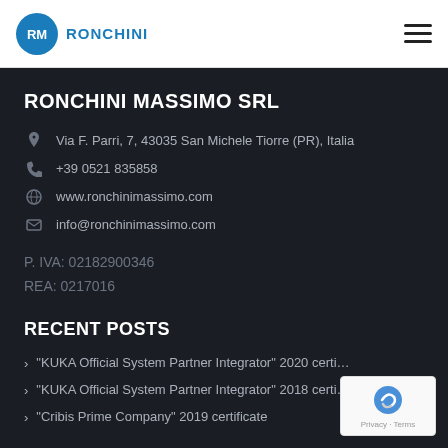RONCHINI
RONCHINI MASSIMO SRL
Via F. Parri, 7, 43035 San Michele Tiorre (PR), Italia
+39 0521 835858
www.ronchinimassimo.com
info@ronchinimassimo.com
P. IVA: 02182900346
REA: 0217016
RECENT POSTS
"KUKA Official System Partner Integrator" 2020 certi…
"KUKA Official System Partner Integrator" 2018 certi…
"Cribis Prime Company" 2019 certificate